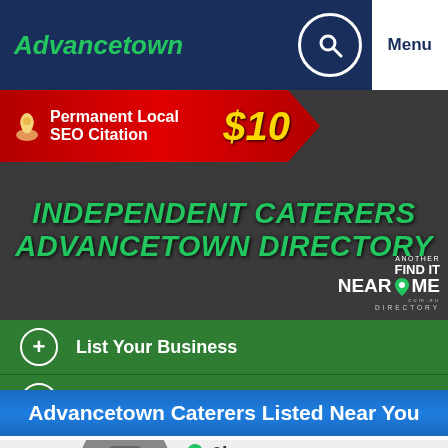Advancetown
[Figure (infographic): Red ribbon banner advertising Permanent Local SEO Citation for $10]
INDEPENDENT CATERERS ADVANCETOWN DIRECTORY
[Figure (logo): Another Find It Near Me .com.au Directory logo]
List Your Business
Get 3 Quotes FAST!
Advancetown Caterers Listed Near You
6kms
[Figure (other): Five-star rating outline (empty stars)]